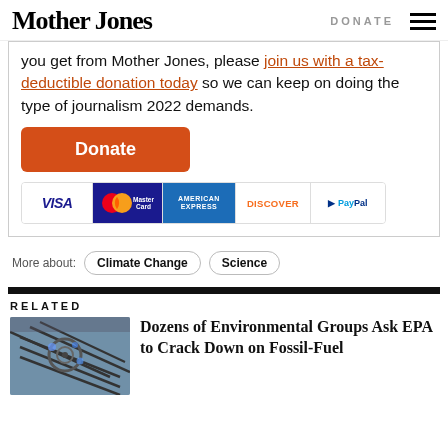Mother Jones | DONATE
you get from Mother Jones, please join us with a tax-deductible donation today so we can keep on doing the type of journalism 2022 demands.
[Figure (other): Orange Donate button followed by payment icons: VISA, MasterCard, American Express, Discover, PayPal]
More about: Climate Change  Science
RELATED
[Figure (photo): Close-up photo of gas stove burners]
Dozens of Environmental Groups Ask EPA to Crack Down on Fossil-Fuel